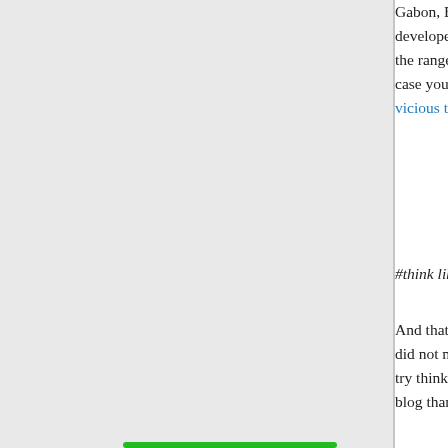Gabon, Botswana c… developed econom… the range of menta… case you don't kno… vicious type.
#think like Afro
And that's a lot bet… did not make the le… try thinking like me… blog than what you…
Like
[Figure (photo): Small avatar/profile image of a commenter, partially visible]
RaceReali… ER 1…
Privacy & Cookies: This site uses cookies. By continuing to use this website, you agree to their use. To find out more, including how to control cookies, see here: Cookie Policy
Close and accept